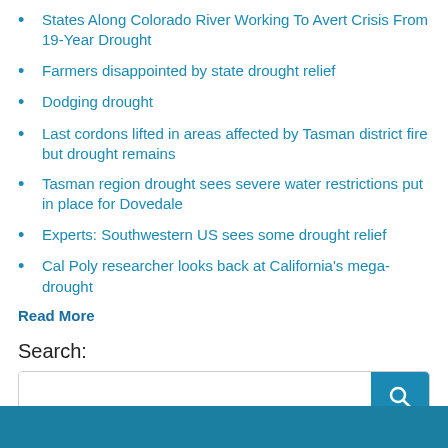States Along Colorado River Working To Avert Crisis From 19-Year Drought
Farmers disappointed by state drought relief
Dodging drought
Last cordons lifted in areas affected by Tasman district fire but drought remains
Tasman region drought sees severe water restrictions put in place for Dovedale
Experts: Southwestern US sees some drought relief
Cal Poly researcher looks back at California's mega-drought
Read More
Search: